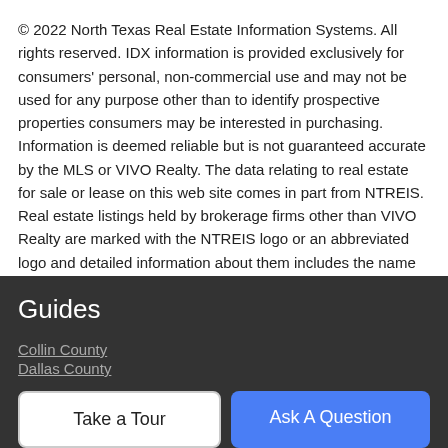© 2022 North Texas Real Estate Information Systems. All rights reserved. IDX information is provided exclusively for consumers' personal, non-commercial use and may not be used for any purpose other than to identify prospective properties consumers may be interested in purchasing. Information is deemed reliable but is not guaranteed accurate by the MLS or VIVO Realty. The data relating to real estate for sale or lease on this web site comes in part from NTREIS. Real estate listings held by brokerage firms other than VIVO Realty are marked with the NTREIS logo or an abbreviated logo and detailed information about them includes the name of the listing broker. Data last updated 2022-09-01T11:44:03.027.
Guides
Collin County
Dallas County